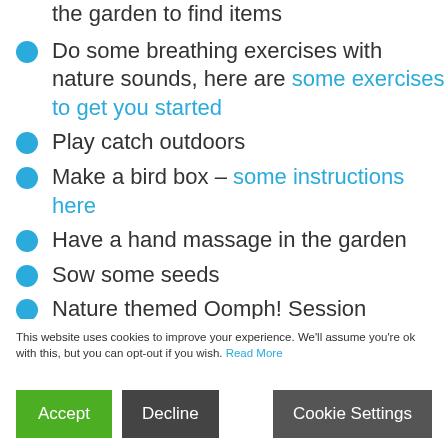the garden to find items
Do some breathing exercises with nature sounds, here are some exercises to get you started
Play catch outdoors
Make a bird box – some instructions here
Have a hand massage in the garden
Sow some seeds
Nature themed Oomph! Session
This website uses cookies to improve your experience. We'll assume you're ok with this, but you can opt-out if you wish. Read More